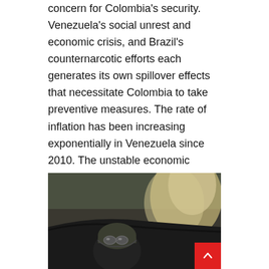concern for Colombia's security. Venezuela's social unrest and economic crisis, and Brazil's counternarcotic efforts each generates its own spillover effects that necessitate Colombia to take preventive measures. The rate of inflation has been increasing exponentially in Venezuela since 2010. The unstable economic situation could provide opportunities for new criminal groups and increased illicit activity and spark irregular migration toward more stable countries. Any new criminal organizations are likely to be oriented toward highly profitable cocaine, which can be trafficked across different points along the more than 2,000-kilometer shared border.
[Figure (photo): A soldier in combat helmet and goggles crouching behind a dark tarp or cover, with fire and smoke visible in the background to the right. The scene appears to depict a military or law enforcement drug-related operation.]